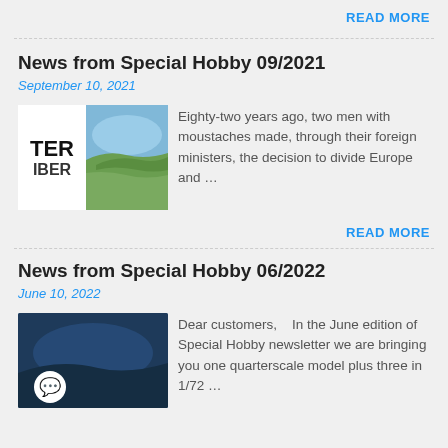READ MORE
News from Special Hobby 09/2021
September 10, 2021
[Figure (photo): Two-panel image: left panel shows white background with bold text 'TER' and 'IBER'; right panel shows an aerial landscape photo with blue water and green terrain.]
Eighty-two years ago, two men with moustaches made, through their foreign ministers, the decision to divide Europe and …
READ MORE
News from Special Hobby 06/2022
June 10, 2022
[Figure (photo): Dark blue-toned photo showing a war scene or model diorama, with a white speech bubble chat icon overlaid in the lower left.]
Dear customers,    In the June edition of Special Hobby newsletter we are bringing you one quarterscale model plus three in 1/72 …